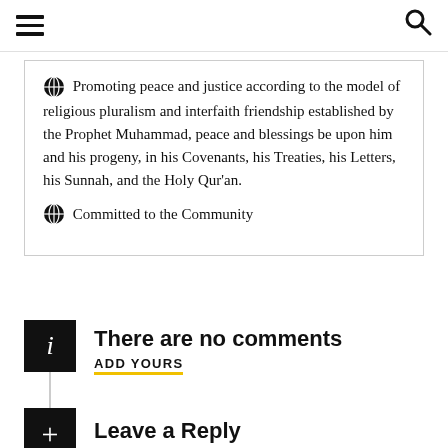≡  🔍
Promoting peace and justice according to the model of religious pluralism and interfaith friendship established by the Prophet Muhammad, peace and blessings be upon him and his progeny, in his Covenants, his Treaties, his Letters, his Sunnah, and the Holy Qur'an.
Committed to the Community
There are no comments
ADD YOURS
Leave a Reply